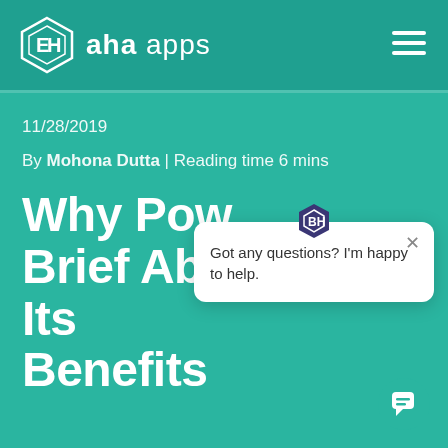aha apps
11/28/2019
By Mohona Dutta | Reading time 6 mins
Why Pow Brief About Its Benefits
[Figure (screenshot): Chat popup widget showing 'Got any questions? I'm happy to help.' with a close button and aha apps icon at top]
[Figure (illustration): Teal circular chat button with chat icon]